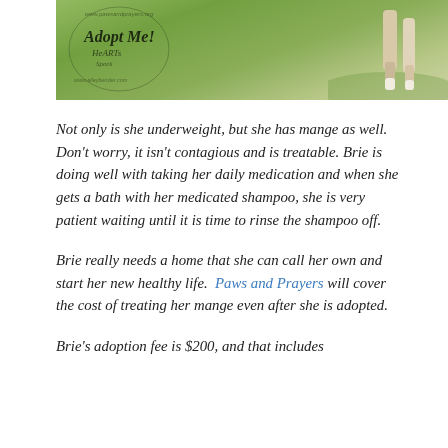[Figure (photo): A dog walking on green grass outdoors, with Adopt Me! and Paws and Prayers watermark logos overlaid on the upper left of the image.]
Not only is she underweight, but she has mange as well. Don't worry, it isn't contagious and is treatable. Brie is doing well with taking her daily medication and when she gets a bath with her medicated shampoo, she is very patient waiting until it is time to rinse the shampoo off.
Brie really needs a home that she can call her own and start her new healthy life. Paws and Prayers will cover the cost of treating her mange even after she is adopted.
Brie's adoption fee is $200, and that includes